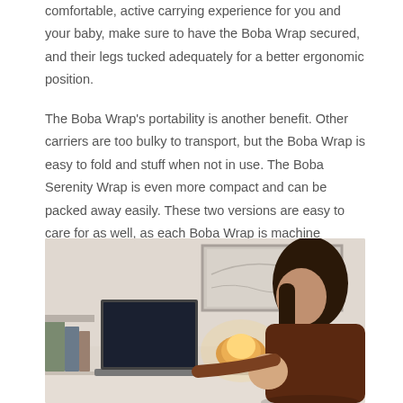comfortable, active carrying experience for you and your baby, make sure to have the Boba Wrap secured, and their legs tucked adequately for a better ergonomic position.
The Boba Wrap's portability is another benefit. Other carriers are too bulky to transport, but the Boba Wrap is easy to fold and stuff when not in use. The Boba Serenity Wrap is even more compact and can be packed away easily. These two versions are easy to care for as well, as each Boba Wrap is machine washable and easy to dry.
[Figure (photo): A woman with dark hair sitting at a desk with a laptop and a glowing salt lamp, holding a baby, with framed artwork visible on the wall behind her.]